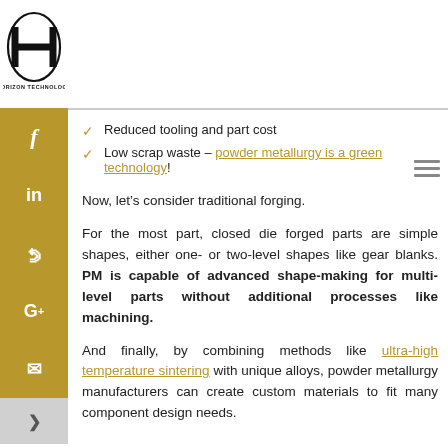[Figure (logo): Horizon Technology logo with large H and ellipse, text HORIZON TECHNOLOGY below]
Reduced tooling and part cost
Low scrap waste - powder metallurgy is a green technology!
Now, let's consider traditional forging.
For the most part, closed die forged parts are simple shapes, either one- or two-level shapes like gear blanks. PM is capable of advanced shape-making for multi-level parts without additional processes like machining.
And finally, by combining methods like ultra-high temperature sintering with unique alloys, powder metallurgy manufacturers can create custom materials to fit many component design needs.